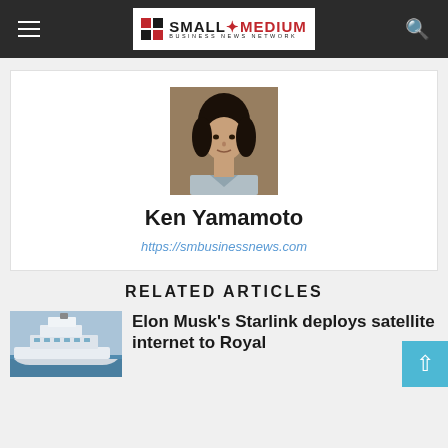Small Medium Business News Network
[Figure (photo): Headshot photo of Ken Yamamoto, a young man with dark shoulder-length hair wearing a light-colored shirt]
Ken Yamamoto
https://smbusinessnews.com
RELATED ARTICLES
[Figure (photo): Thumbnail photo of a large cruise ship or ferry vessel on water]
Elon Musk's Starlink deploys satellite internet to Royal